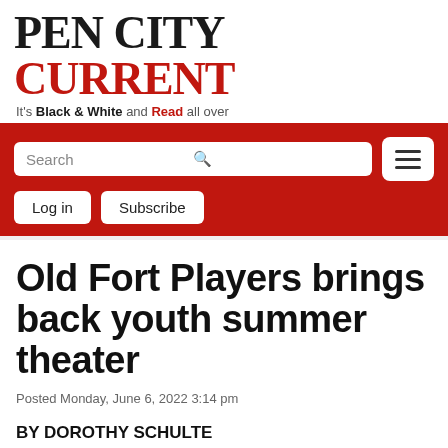PEN CITY CURRENT — It's Black & White and Read all over
[Figure (screenshot): Navigation bar with search field, search icon, hamburger menu button, Log in and Subscribe buttons on red background]
Old Fort Players brings back youth summer theater
Posted Monday, June 6, 2022 3:14 pm
BY DOROTHY SCHULTE
OFP Director